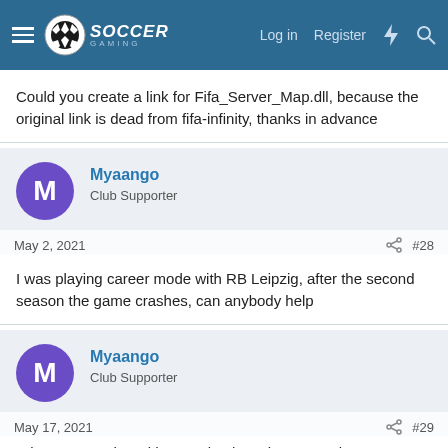Soccer Gaming — Log in  Register
Could you create a link for Fifa_Server_Map.dll, because the original link is dead from fifa-infinity, thanks in advance
Myaango
Club Supporter
May 2, 2021  #28
I was playing career mode with RB Leipzig, after the second season the game crashes, can anybody help
Myaango
Club Supporter
May 17, 2021  #29
When I try to play with crystal palace the game always crashes , help anyone?